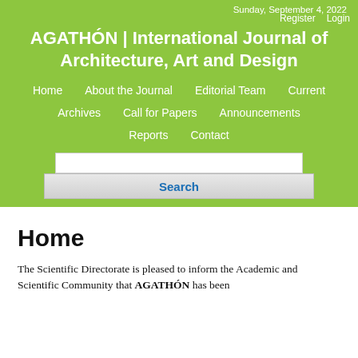Sunday, September 4, 2022
AGATHÓN | International Journal of Architecture, Art and Design
Register    Login
Home
About the Journal
Editorial Team
Current
Archives
Call for Papers
Announcements
Reports
Contact
Home
The Scientific Directorate is pleased to inform the Academic and Scientific Community that AGATHÓN has been